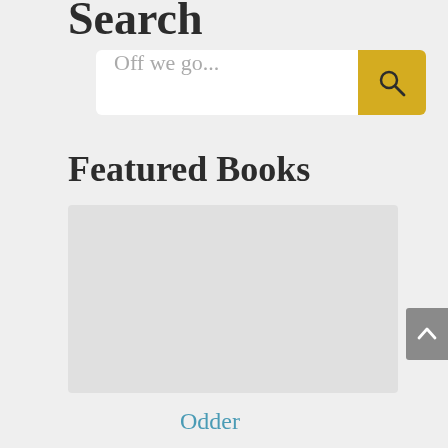Search
[Figure (screenshot): Search input field with placeholder text 'Off we go...' and a yellow search button with magnifying glass icon]
Featured Books
[Figure (other): Light gray placeholder rectangle representing a featured book image]
Odder